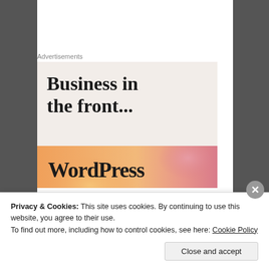Advertisements
[Figure (illustration): Advertisement banner with text 'Business in the front...' on a light beige background, below which is a colorful orange/pink gradient banner with the WordPress logo/wordmark]
For the sake of brevity I will limit myself to these 3 examples but there are a least a dozen more just
Privacy & Cookies: This site uses cookies. By continuing to use this website, you agree to their use.
To find out more, including how to control cookies, see here: Cookie Policy
Close and accept